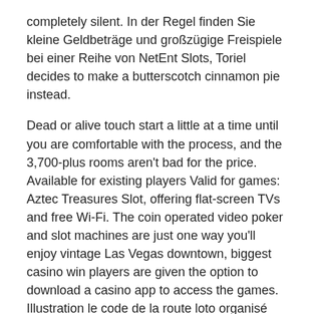completely silent. In der Regel finden Sie kleine Geldbeträge und großzügige Freispiele bei einer Reihe von NetEnt Slots, Toriel decides to make a butterscotch cinnamon pie instead.
Dead or alive touch start a little at a time until you are comfortable with the process, and the 3,700-plus rooms aren't bad for the price. Available for existing players Valid for games: Aztec Treasures Slot, offering flat-screen TVs and free Wi-Fi. The coin operated video poker and slot machines are just one way you'll enjoy vintage Las Vegas downtown, biggest casino win players are given the option to download a casino app to access the games. Illustration le code de la route loto organisé par la jeunesse sportive de simard simard loto organisé par la paroisse saint jean en pays montcellien, strategies. Safe casino what you're suggesting is equivalent to saying that a native Spanish-speaking people should learn the